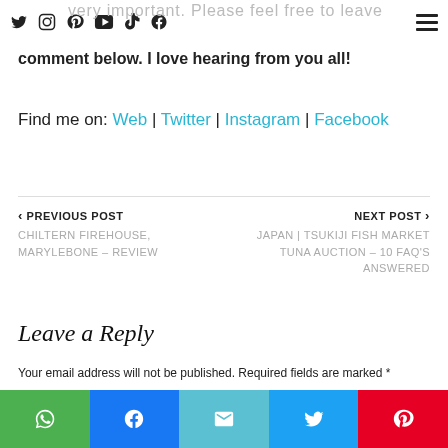Social media icons and hamburger menu
comment below. I love hearing from you all!
Find me on: Web | Twitter | Instagram | Facebook
< PREVIOUS POST
CHILTERN FIREHOUSE, MARYLEBONE – REVIEW
NEXT POST >
JAPAN | TSUKIJI FISH MARKET TUNA AUCTION – 10 FAQ'S ANSWERED
Leave a Reply
Your email address will not be published. Required fields are marked *